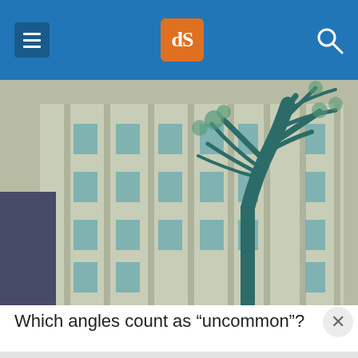dPS navigation header with hamburger menu, logo, and search icon
[Figure (photo): Low-angle photograph of a tall beige/cream multi-story building with vertical architectural details and rectangular windows, with a bare tree in the foreground set against a pale sky. The image has a teal/cyan color tone overlay.]
Which angles count as “uncommon”?